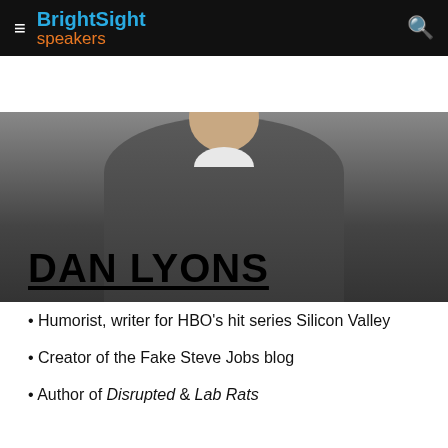BrightSight speakers
[Figure (photo): Photo of Dan Lyons, a man wearing a dark grey sweater with a white collared shirt underneath, photographed from the chest up against a dark background.]
DAN LYONS
Humorist, writer for HBO’s hit series Silicon Valley
Creator of the Fake Steve Jobs blog
Author of Disrupted & Lab Rats